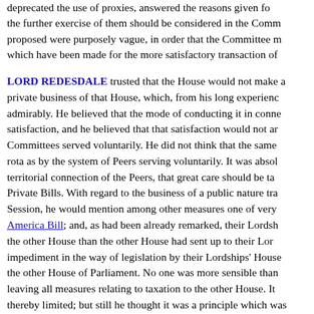deprecated the use of proxies, answered the reasons given for the further exercise of them should be considered in the Comm proposed were purposely vague, in order that the Committee m which have been made for the more satisfactory transaction of
LORD REDESDALE trusted that the House would not make a private business of that House, which, from his long experience admirably. He believed that the mode of conducting it in conne satisfaction, and he believed that that satisfaction would not ar Committees served voluntarily. He did not think that the same rota as by the system of Peers serving voluntarily. It was absol territorial connection of the Peers, that great care should be ta Private Bills. With regard to the business of a public nature tra Session, he would mention among other measures one of very America Bill; and, as had been already remarked, their Lordsh the other House than the other House had sent up to their Lor impediment in the way of legislation by their Lordships' House the other House of Parliament. No one was more sensible than leaving all measures relating to taxation to the other House. It thereby limited; but still he thought it was a principle which was should not think of asking for any change to be made by the o